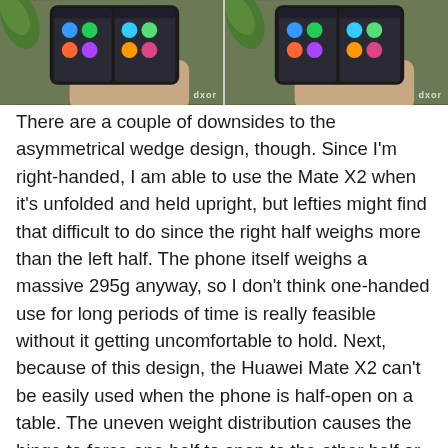[Figure (photo): Two side-by-side photos of hands holding the Huawei Mate X2 foldable phone, unfolded, showing the screen with app icons. Both images have a dxor watermark in the bottom right corner.]
There are a couple of downsides to the asymmetrical wedge design, though. Since I'm right-handed, I am able to use the Mate X2 when it's unfolded and held upright, but lefties might find that difficult to do since the right half weighs more than the left half. The phone itself weighs a massive 295g anyway, so I don't think one-handed use for long periods of time is really feasible without it getting uncomfortable to hold. Next, because of this design, the Huawei Mate X2 can't be easily used when the phone is half-open on a table. The uneven weight distribution causes the hinge to force one half to snap to the other half or to the fully unfolded position. If you do get it half-open without it forcing shut or open, then you'll notice the Mate X2 will simply wobble when